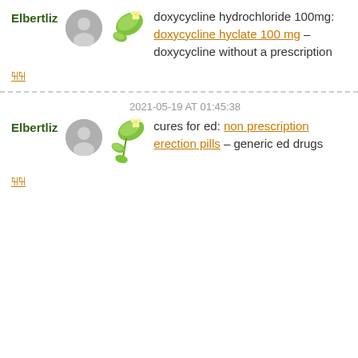Elbertliz – doxycycline hydrochloride 100mg: doxycycline hyclate 100 mg – doxycycline without a prescription
Reply
2021-05-19 AT 01:45:38
Elbertliz – cures for ed: non prescription erection pills – generic ed drugs
Reply